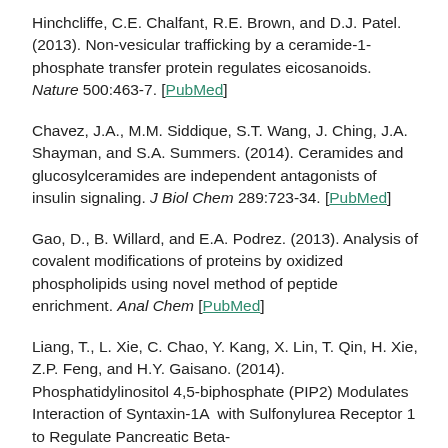Hinchcliffe, C.E. Chalfant, R.E. Brown, and D.J. Patel. (2013). Non-vesicular trafficking by a ceramide-1-phosphate transfer protein regulates eicosanoids. Nature 500:463-7. [PubMed]
Chavez, J.A., M.M. Siddique, S.T. Wang, J. Ching, J.A. Shayman, and S.A. Summers. (2014). Ceramides and glucosylceramides are independent antagonists of insulin signaling. J Biol Chem 289:723-34. [PubMed]
Gao, D., B. Willard, and E.A. Podrez. (2013). Analysis of covalent modifications of proteins by oxidized phospholipids using novel method of peptide enrichment. Anal Chem [PubMed]
Liang, T., L. Xie, C. Chao, Y. Kang, X. Lin, T. Qin, H. Xie, Z.P. Feng, and H.Y. Gaisano. (2014). Phosphatidylinositol 4,5-biphosphate (PIP2) Modulates Interaction of Syntaxin-1A  with Sulfonylurea Receptor 1 to Regulate Pancreatic Beta-